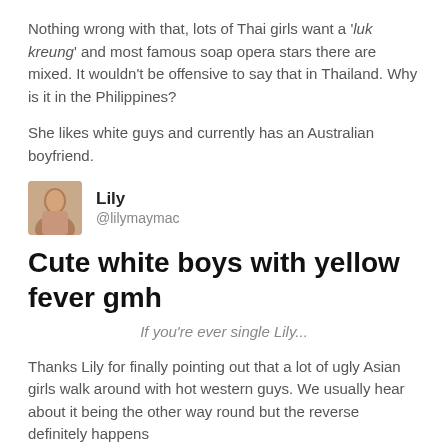Nothing wrong with that, lots of Thai girls want a 'luk kreung' and most famous soap opera stars there are mixed. It wouldn't be offensive to say that in Thailand. Why is it in the Philippines?
She likes white guys and currently has an Australian boyfriend.
[Figure (screenshot): Tweet by Lily (@lilymaymac) saying: Cute white boys with yellow fever gmh]
If you're ever single Lily...
Thanks Lily for finally pointing out that a lot of ugly Asian girls walk around with hot western guys. We usually hear about it being the other way round but the reverse definitely happens